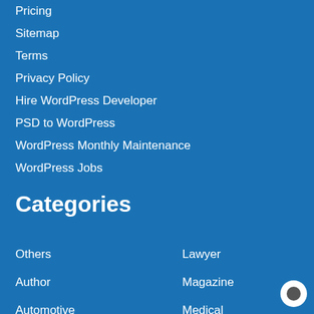Pricing
Sitemap
Terms
Privacy Policy
Hire WordPress Developer
PSD to WordPress
WordPress Monthly Maintenance
WordPress Jobs
Categories
Others
Author
Automotive
Lawyer
Magazine
Medical